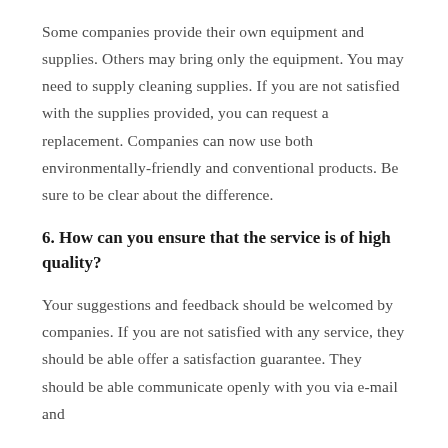Some companies provide their own equipment and supplies. Others may bring only the equipment. You may need to supply cleaning supplies. If you are not satisfied with the supplies provided, you can request a replacement. Companies can now use both environmentally-friendly and conventional products. Be sure to be clear about the difference.
6. How can you ensure that the service is of high quality?
Your suggestions and feedback should be welcomed by companies. If you are not satisfied with any service, they should be able offer a satisfaction guarantee. They should be able communicate openly with you via e-mail and